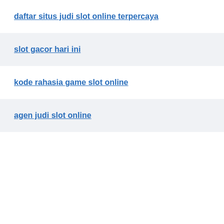daftar situs judi slot online terpercaya
slot gacor hari ini
kode rahasia game slot online
agen judi slot online